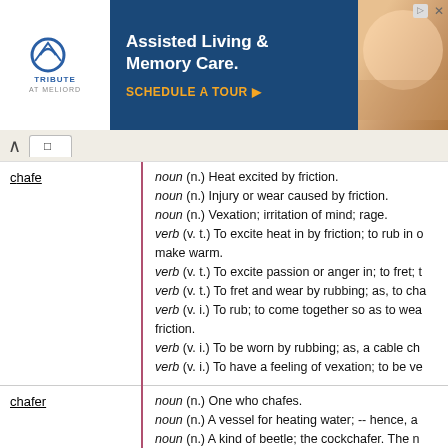[Figure (other): Advertisement banner for Tribute at Melford Assisted Living & Memory Care with 'Schedule a Tour' call to action]
chafe - noun (n.) Heat excited by friction. noun (n.) Injury or wear caused by friction. noun (n.) Vexation; irritation of mind; rage. verb (v. t.) To excite heat in by friction; to rub in order to make warm. verb (v. t.) To excite passion or anger in; to fret; to verb (v. t.) To fret and wear by rubbing; as, to ch verb (v. i.) To rub; to come together so as to wear by friction. verb (v. i.) To be worn by rubbing; as, a cable ch verb (v. i.) To have a feeling of vexation; to be ve
chafer - noun (n.) One who chafes. noun (n.) A vessel for heating water; -- hence, a noun (n.) A kind of beetle; the cockchafer. The name is also applied to other species; as, the rose chafer.
chafewax - noun (n.) Alt. of Chaffwax
chaffwax - noun (n.) Formerly a chancery officer who fitted other documents.
chafewood - noun (n.) The cudweed (Gnaphalium), used to